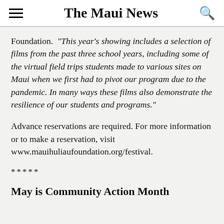The Maui News
Foundation. “This year’s showing includes a selection of films from the past three school years, including some of the virtual field trips students made to various sites on Maui when we first had to pivot our program due to the pandemic. In many ways these films also demonstrate the resilience of our students and programs.”
Advance reservations are required. For more information or to make a reservation, visit www.mauihuliaufoundation.org/festival.
*****
May is Community Action Month